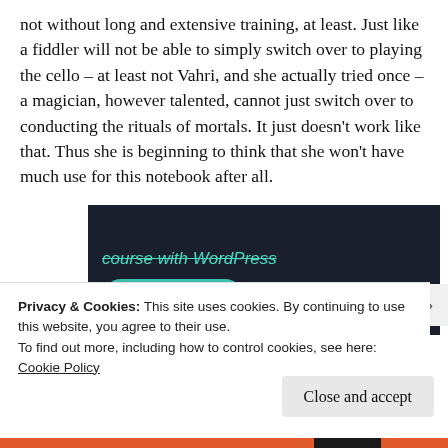not without long and extensive training, at least. Just like a fiddler will not be able to simply switch over to playing the cello – at least not Vahri, and she actually tried once – a magician, however talented, cannot just switch over to conducting the rituals of mortals. It just doesn't work like that. Thus she is beginning to think that she won't have much use for this notebook after all.
[Figure (screenshot): Dark background advertisement banner showing italic teal text 'course with WordPress' (struck through) and a teal rounded button labeled 'Learn More']
Privacy & Cookies: This site uses cookies. By continuing to use this website, you agree to their use.
To find out more, including how to control cookies, see here: Cookie Policy
Close and accept